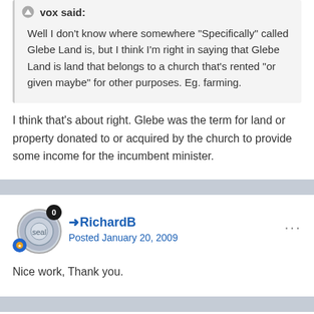vox said:
Well I don't know where somewhere "Specifically" called Glebe Land is, but I think I'm right in saying that Glebe Land is land that belongs to a church that's rented "or given maybe" for other purposes. Eg. farming.
I think that's about right. Glebe was the term for land or property donated to or acquired by the church to provide some income for the incumbent minister.
➜RichardB
Posted January 20, 2009
Nice work, Thank you.